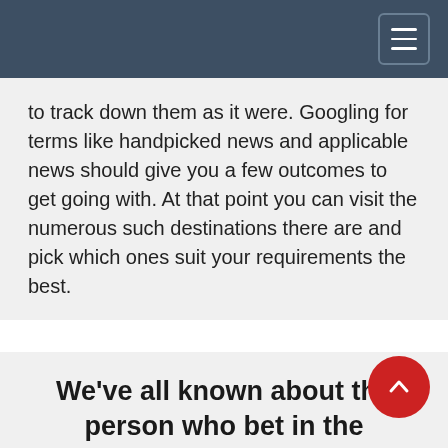Navigation menu header bar
to track down them as it were. Googling for terms like handpicked news and applicable news should give you a few outcomes to get going with. At that point you can visit the numerous such destinations there are and pick which ones suit your requirements the best.
We’ve all known about the person who bet in the longshot group
April 29, 2021